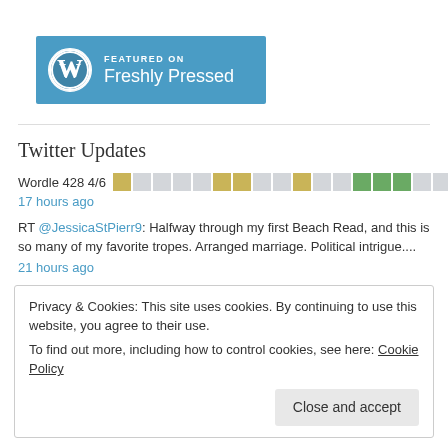[Figure (logo): WordPress 'Featured on Freshly Pressed' blue banner with WordPress logo]
Twitter Updates
Wordle 428 4/6 [colored squares] 17 hours ago
RT @JessicaStPierr9: Halfway through my first Beach Read, and this is so many of my favorite tropes. Arranged marriage. Political intrigue.... 21 hours ago
Privacy & Cookies: This site uses cookies. By continuing to use this website, you agree to their use.
To find out more, including how to control cookies, see here: Cookie Policy
[Close and accept button]
twitter.com/i/web/status/1... 1 day ago